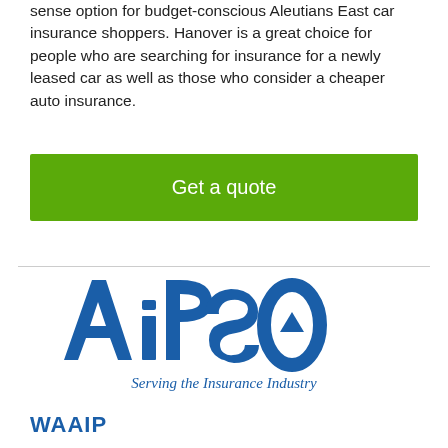sense option for budget-conscious Aleutians East car insurance shoppers. Hanover is a great choice for people who are searching for insurance for a newly leased car as well as those who consider a cheaper auto insurance.
[Figure (other): Green 'Get a quote' button]
[Figure (logo): AIPSO logo with text 'Serving the Insurance Industry']
WAAIP